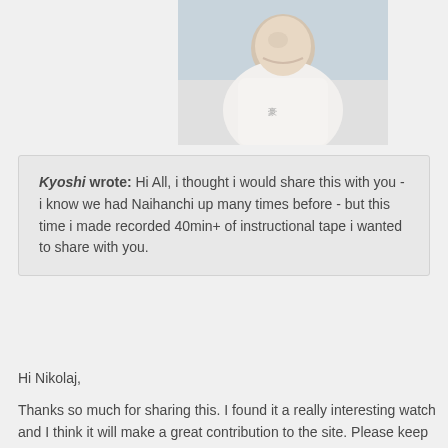[Figure (photo): Profile photo of a man wearing a white martial arts gi, smiling at camera]
Kyoshi wrote: Hi All, i thought i would share this with you - i know we had Naihanchi up many times before - but this time i made recorded 40min+ of instructional tape i wanted to share with you.
Hi Nikolaj,
Thanks so much for sharing this. I found it a really interesting watch and I think it will make a great contribution to the site. Please keep the episodes coming! I do like this recent spate of video sharing as it provides much food for thought.
shoshinkanuk wrote: In your section 1- defend against knee strike you would likely clash heads